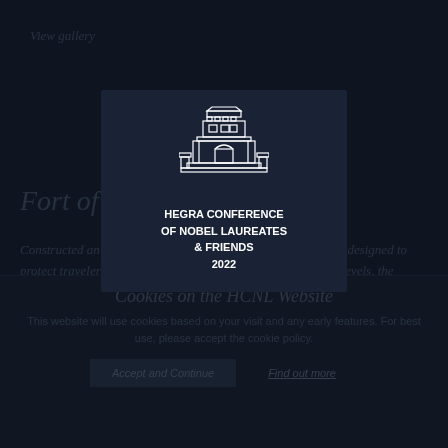View gallery
Fort of Hegra
Constructed an order of the Caliph of Damascus, this fort was designed to protect travelers making their way to Makkah. Featuring two levels, the structure included a prayer
[Figure (logo): Hegra Conference of Nobel Laureates & Friends 2022 logo — architectural line drawing of a fort/building above text]
HEGRA CONFERENCE OF NOBEL LAUREATES & FRIENDS 2022
Cookies on the HCNL Website
This website will use cookies based on your visit and any early features. For best use, please accept the cookie policy.
Accept and Continue
Find out more